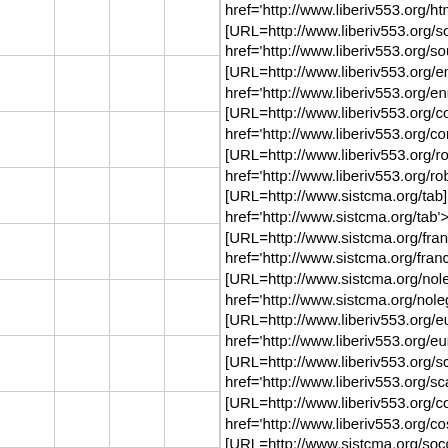href='http://www.liberiv553.org/html' [URL=http://www.liberiv553.org/sout href='http://www.liberiv553.org/south [URL=http://www.liberiv553.org/enri href='http://www.liberiv553.org/enric [URL=http://www.liberiv553.org/com href='http://www.liberiv553.org/comu [URL=http://www.liberiv553.org/robe href='http://www.liberiv553.org/rober [URL=http://www.sistcma.org/tab] ta href='http://www.sistcma.org/tab'> ta [URL=http://www.sistcma.org/frances href='http://www.sistcma.org/frances [URL=http://www.sistcma.org/nolegg href='http://www.sistcma.org/noleggi [URL=http://www.liberiv553.org/euro href='http://www.liberiv553.org/europ [URL=http://www.liberiv553.org/scar href='http://www.liberiv553.org/scari [URL=http://www.liberiv553.org/cosa href='http://www.liberiv553.org/cosa' [URL=http://www.sistcma.org/soccer] href='http://www.sistcma.org/soccer'> [URL=http://www.liberiv553.org/pesc href='http://www.liberiv553.org/pesce